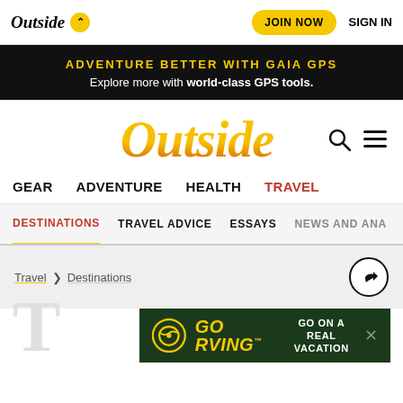Outside | JOIN NOW | SIGN IN
ADVENTURE BETTER WITH GAIA GPS — Explore more with world-class GPS tools.
[Figure (logo): Outside magazine logo in yellow/orange italic serif font]
GEAR   ADVENTURE   HEALTH   TRAVEL
DESTINATIONS   TRAVEL ADVICE   ESSAYS   NEWS AND ANA...
Travel > Destinations
[Figure (logo): GO RVING logo with circular icon on dark green background. Text: GO ON A REAL VACATION]